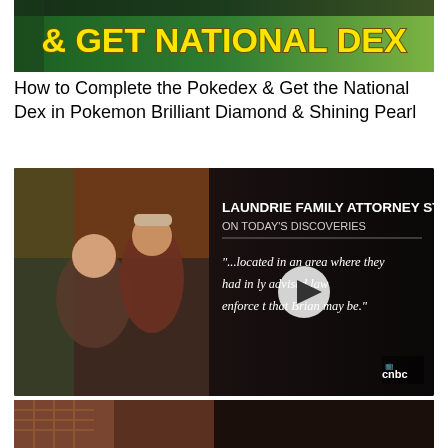[Figure (screenshot): Thumbnail image with green/dark green background and yellow text reading '& GET NATIONAL DEX']
How to Complete the Pokedex & Get the National Dex in Pokemon Brilliant Diamond & Shining Pearl
[Figure (screenshot): Video thumbnail from CNBC showing two people (a couple) with overlaid text: 'LAUNDRIE FAMILY ATTORNEY STATEMENT ON TODAY'S DISCOVERIES' and quote '...located in an area where they had initially advised law enforcement that Brian may be.' with a play button overlay and CNBC logo]
Human remains and Brian Laundrie's personal belongings found in nature preserve
[Figure (photo): Partial thumbnail showing a dark/warm-toned image at the bottom, partially cropped]